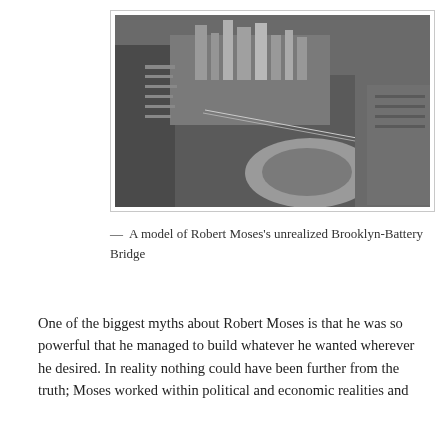[Figure (photo): Aerial black-and-white photograph showing a model of Robert Moses's unrealized Brooklyn-Battery Bridge, with lower Manhattan skyline and harbor visible from above.]
— A model of Robert Moses's unrealized Brooklyn-Battery Bridge
One of the biggest myths about Robert Moses is that he was so powerful that he managed to build whatever he wanted wherever he desired. In reality nothing could have been further from the truth; Moses worked within political and economic realities and